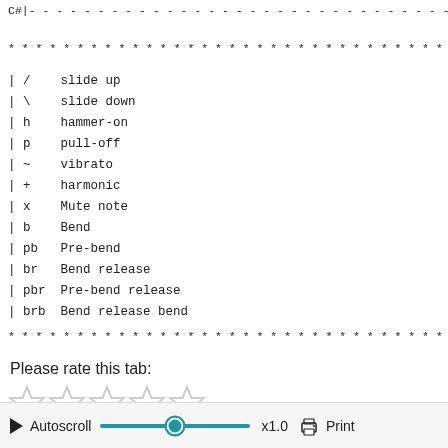C#|---...
*************************************
| /   slide up
| \   slide down
| h   hammer-on
| p   pull-off
| ~   vibrato
| +   harmonic
| x   Mute note
| b   Bend
| pb  Pre-bend
| br  Bend release
| pbr Pre-bend release
| brb Bend release bend
*************************************
Please rate this tab:
[Figure (other): 5 empty star rating icons]
Autoscroll x1.0 Print